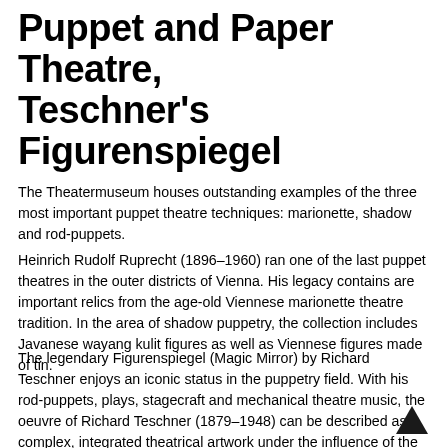Puppet and Paper Theatre, Teschner's Figurenspiegel
The Theatermuseum houses outstanding examples of the three most important puppet theatre techniques: marionette, shadow and rod-puppets.
Heinrich Rudolf Ruprecht (1896–1960) ran one of the last puppet theatres in the outer districts of Vienna. His legacy contains are important relics from the age-old Viennese marionette theatre tradition. In the area of shadow puppetry, the collection includes Javanese wayang kulit figures as well as Viennese figures made of tin.
The legendary Figurenspiegel (Magic Mirror) by Richard Teschner enjoys an iconic status in the puppetry field. With his rod-puppets, plays, stagecraft and mechanical theatre music, the oeuvre of Richard Teschner (1879–1948) can be described as a complex, integrated theatrical artwork under the influence of the Viennese Secessionist and Art Deco movements. The Theatermuseum stages frequent performances of plays by Teschner.